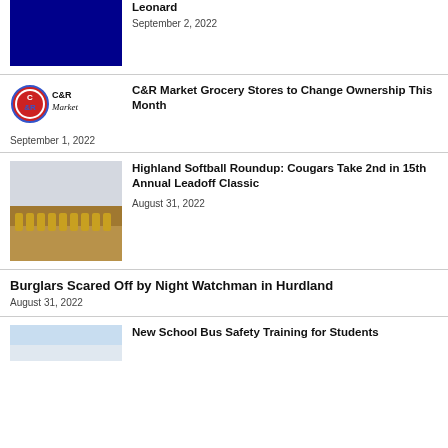[Figure (photo): Dark blue/navy rectangle thumbnail image]
Leonard
September 2, 2022
[Figure (logo): C&R Market logo with circular emblem]
C&R Market Grocery Stores to Change Ownership This Month
September 1, 2022
[Figure (photo): Softball team group photo on dirt field]
Highland Softball Roundup: Cougars Take 2nd in 15th Annual Leadoff Classic
August 31, 2022
Burglars Scared Off by Night Watchman in Hurdland
August 31, 2022
[Figure (photo): Sky with clouds thumbnail]
New School Bus Safety Training for Students